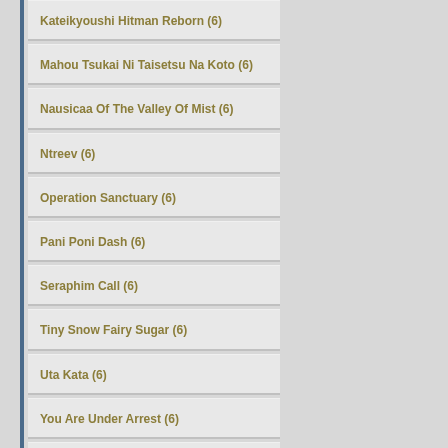Kateikyoushi Hitman Reborn (6)
Mahou Tsukai Ni Taisetsu Na Koto (6)
Nausicaa Of The Valley Of Mist (6)
Ntreev (6)
Operation Sanctuary (6)
Pani Poni Dash (6)
Seraphim Call (6)
Tiny Snow Fairy Sugar (6)
Uta Kata (6)
You Are Under Arrest (6)
Basilisk (5)
Blade Of The Immortal (5)
Boys Next Door (5)
Demonbane (5)
Double Cast (5)